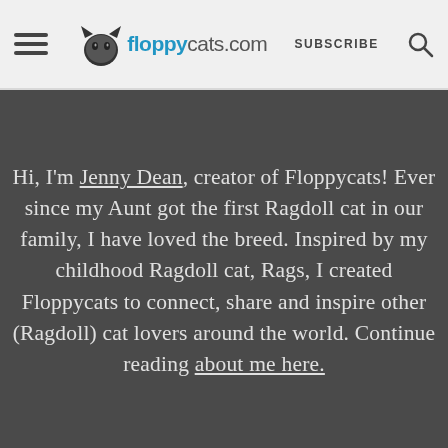floppycats.com | SUBSCRIBE
Hi, I'm Jenny Dean, creator of Floppycats! Ever since my Aunt got the first Ragdoll cat in our family, I have loved the breed. Inspired by my childhood Ragdoll cat, Rags, I created Floppycats to connect, share and inspire other (Ragdoll) cat lovers around the world. Continue reading about me here.